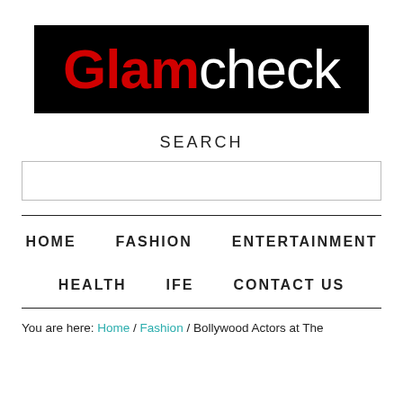[Figure (logo): Glamcheck logo: black background, 'Glam' in red bold and 'check' in white regular weight text]
SEARCH
[Search input box]
HOME   FASHION   ENTERTAINMENT
HEALTH   IFE   CONTACT US
You are here: Home / Fashion / Bollywood Actors at The